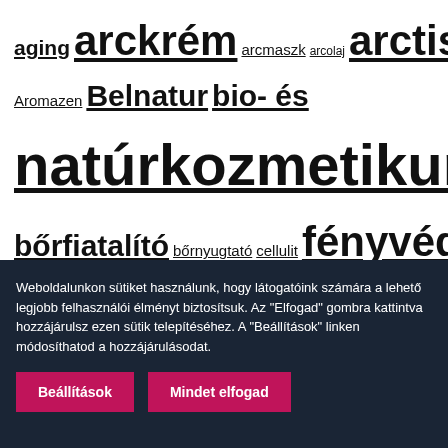aging arckrém arcmaszk arcolaj arctisztító Aromazen Belnatur bio- és natúrkozmetikumok bőrfeszesítő bőrfiatalító bőrnyugtató cellulit fényvédő férfiaknak Guinot alakformáló Guinot fényvédő Guinot krém Guinot testápoló halványítás hidratáló hiperpigmentált bőrre Hungarian Spring irritált bőrre krémcsomag lifting
Weboldalunkon sütiket használunk, hogy látogatóink számára a lehető legjobb felhasználói élményt biztosítsuk. Az "Elfogad" gombra kattintva hozzájárulsz ezen sütik telepítéséhez. A "Beállítások" linken módosíthatod a hozzájárulásodat.
Beállítások
Mindet elfogad